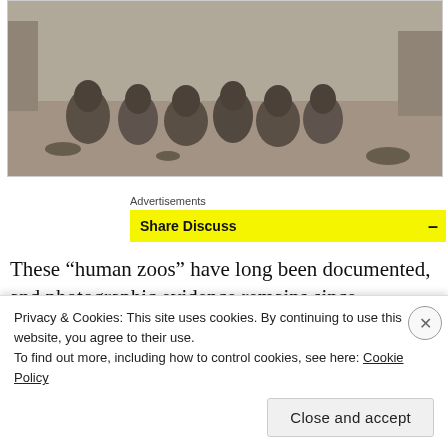[Figure (photo): Black and white photograph of a group of people crouching/sitting on the ground outdoors, with bowls visible on the ground.]
Advertisements
Share Discuss
These “human zoos” have long been documented, and photographic evidence remains since photography was
Privacy & Cookies: This site uses cookies. By continuing to use this website, you agree to their use.
To find out more, including how to control cookies, see here: Cookie Policy
Close and accept